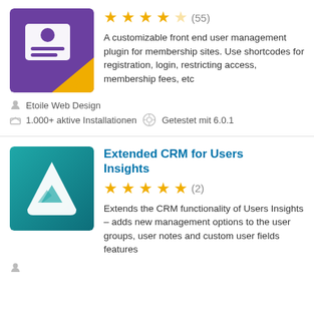[Figure (illustration): Purple plugin icon with a person/contact card graphic and a yellow star badge]
[Figure (other): Star rating: 4.5 out of 5 stars (55 reviews)]
A customizable front end user management plugin for membership sites. Use shortcodes for registration, login, restricting access, membership fees, etc
Etoile Web Design
1.000+ aktive Installationen   Getestet mit 6.0.1
Extended CRM for Users Insights
[Figure (illustration): Teal plugin icon with white mountain/triangle shape logo]
[Figure (other): Star rating: 5 out of 5 stars (2 reviews)]
Extends the CRM functionality of Users Insights – adds new management options to the user groups, user notes and custom user fields features